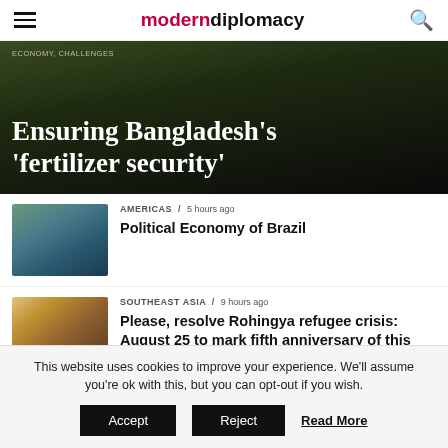moderndiplomacy
[Figure (photo): Hero image of Bangladesh article with dark background and overlaid title text reading: Ensuring Bangladesh's 'fertilizer security']
Ensuring Bangladesh's 'fertilizer security'
AMERICAS / 5 hours ago
[Figure (photo): Thumbnail photo of green mountainous landscape with coastal city, depicting Brazil]
Political Economy of Brazil
SOUTHEAST ASIA / 9 hours ago
[Figure (photo): Thumbnail photo of people in colorful clothing, depicting Rohingya refugee crisis scene]
Please, resolve Rohingya refugee crisis: August 25 to mark fifth anniversary of this crisis
This website uses cookies to improve your experience. We'll assume you're ok with this, but you can opt-out if you wish.